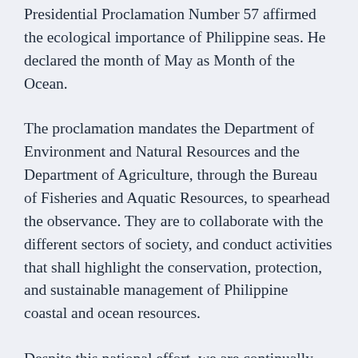Presidential Proclamation Number 57 affirmed the ecological importance of Philippine seas. He declared the month of May as Month of the Ocean.
The proclamation mandates the Department of Environment and Natural Resources and the Department of Agriculture, through the Bureau of Fisheries and Aquatic Resources, to spearhead the observance. They are to collaborate with the different sectors of society, and conduct activities that shall highlight the conservation, protection, and sustainable management of Philippine coastal and ocean resources.
Despite this national effort, we are continually losing our unique national heritage at an alarming rate. Reclamation projects continue to